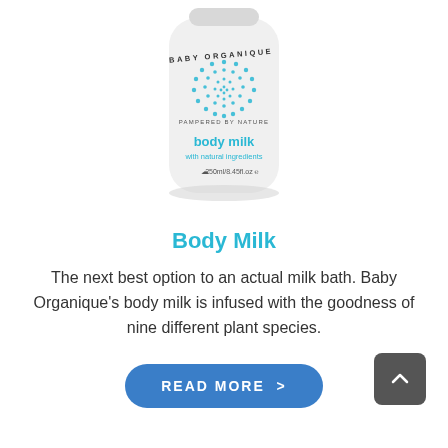[Figure (photo): Baby Organique body milk product bottle, white cylindrical bottle with blue dot circle logo and 'BABY ORGANIQUE PAMPERED BY NATURE' text, 'body milk with natural ingredients 250ml/8.45fl.oz' label]
Body Milk
The next best option to an actual milk bath. Baby Organique's body milk is infused with the goodness of nine different plant species.